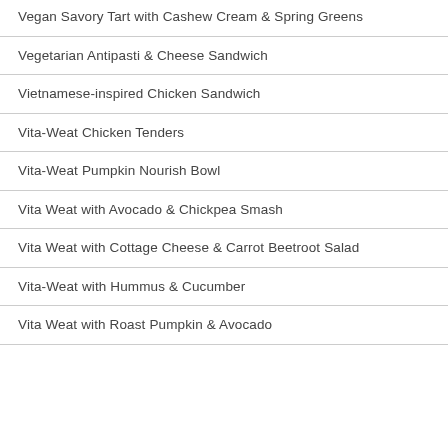Vegan Savory Tart with Cashew Cream & Spring Greens
Vegetarian Antipasti & Cheese Sandwich
Vietnamese-inspired Chicken Sandwich
Vita-Weat Chicken Tenders
Vita-Weat Pumpkin Nourish Bowl
Vita Weat with Avocado & Chickpea Smash
Vita Weat with Cottage Cheese & Carrot Beetroot Salad
Vita-Weat with Hummus & Cucumber
Vita Weat with Roast Pumpkin & Avocado